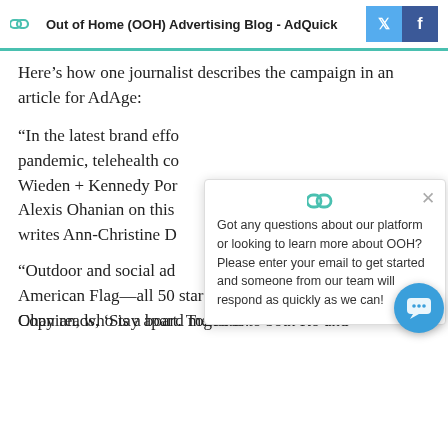Out of Home (OOH) Advertising Blog - AdQuick
Here’s how one journalist describes the campaign in an article for AdAge:
“In the latest brand effo… pandemic, telehealth co… Wieden + Kennedy Por… Alexis Ohanian on this… writes Ann-Christine D…
“Outdoor and social ad… American Flag—all 50 stars are now spaced further apart. Copy reads, ‘Stay apart. Together.’
Ohanian, who is a board member to both Ro and
[Figure (screenshot): AdQuick chat popup widget with logo, close button, and text asking user to enter email for support. Also shows a blue circular chat bubble button.]